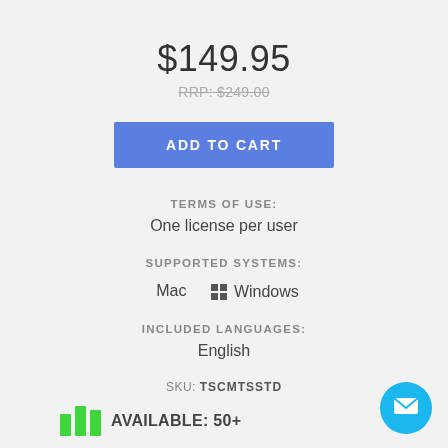$149.95
RRP: $249.00
ADD TO CART
TERMS OF USE:
One license per user
SUPPORTED SYSTEMS:
Mac  Windows
INCLUDED LANGUAGES:
English
SKU: TSCMTSSTD
AVAILABLE: 50+